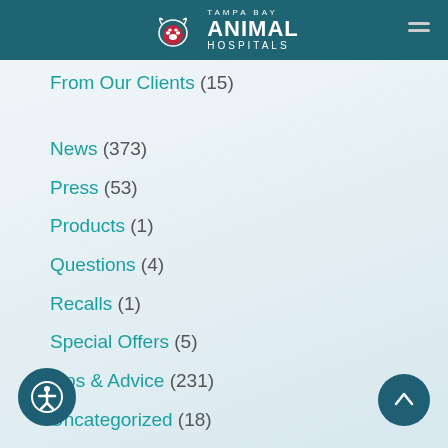Tampa Bay Animal Hospitals
From Our Clients (15)
News (373)
Press (53)
Products (1)
Questions (4)
Recalls (1)
Special Offers (5)
Tips & Advice (231)
Uncategorized (18)
Veterinary Services (50)